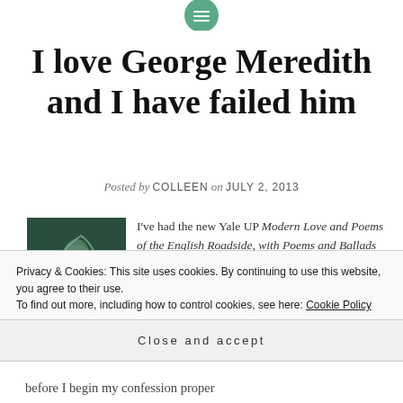[Figure (other): Green circular navigation icon with hamburger menu lines at the top center of the page]
I love George Meredith and I have failed him
Posted by COLLEEN on JULY 2, 2013
[Figure (photo): Book cover of 'Modern Love and Poems of the English Roadside, with Poems and Ballads' by George Meredith, showing a classical figure illustration on a dark green background]
I've had the new Yale UP Modern Love and Poems of the English Roadside, with Poems and Ballads (eds. Rebecca N. Mitchell and Criscillia
Privacy & Cookies: This site uses cookies. By continuing to use this website, you agree to their use.
To find out more, including how to control cookies, see here: Cookie Policy
Close and accept
before I begin my confession proper